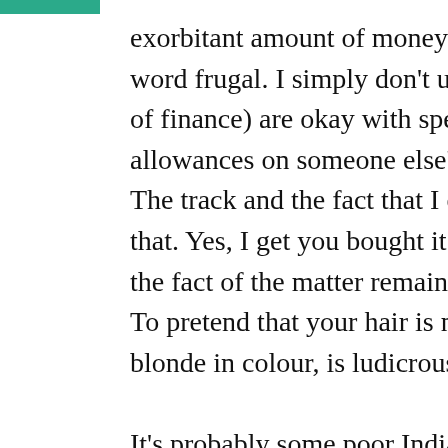exorbitant amount of money on a weave. Call me the word frugal. I simply don't understand how girls (of finance) are okay with spending a good chunk of their allowances on someone else's hair. Like honey, The track and the fact that I can't see your scalp don't change that. Yes, I get you bought it and in a way that makes it yours, but the fact of the matter remains, it did not grow out of your head. To pretend that your hair is naturally 22 inches long and blonde in colour, is ludicrous.

It's probably some poor Indian girl's hair, which she sacrificed to her God's (the process is referred to as tonsure). I am just not okay with having someone else's hair on my head. I am just with…